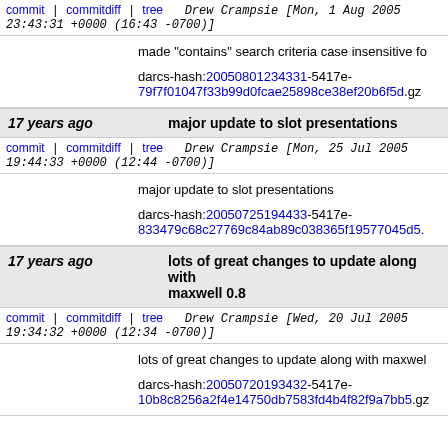commit | commitdiff | tree   Drew Crampsie [Mon, 1 Aug 2005 23:43:31 +0000 (16:43 -0700)]
made "contains" search criteria case insensitive fo
darcs-hash:20050801234331-5417e-79f7f01047f33b99d0fcae25898ce38ef20b6f5d.gz
17 years ago   major update to slot presentations
commit | commitdiff | tree   Drew Crampsie [Mon, 25 Jul 2005 19:44:33 +0000 (12:44 -0700)]
major update to slot presentations
darcs-hash:20050725194433-5417e-833479c68c27769c84ab89c038365f19577045d5.gz
17 years ago   lots of great changes to update along with maxwell 0.8
commit | commitdiff | tree   Drew Crampsie [Wed, 20 Jul 2005 19:34:32 +0000 (12:34 -0700)]
lots of great changes to update along with maxwell
darcs-hash:20050720193432-5417e-10b8c8256a2f4e14750db7583fd4b4f82f9a7bb5.gz